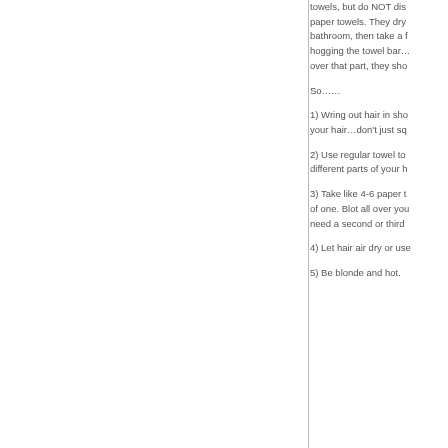towels, but do NOT dispose of your paper towels. They dry off in the bathroom, then take a f... hogging the towel bar... over that part, they sho...
So……
1) Wring out hair in sho... your hair…don't just sq...
2) Use regular towel to different parts of your h...
3)  Take like 4-6 paper t... of one. Blot all over you... need a second or third...
4) Let hair air dry or use...
5) Be blonde and hot.